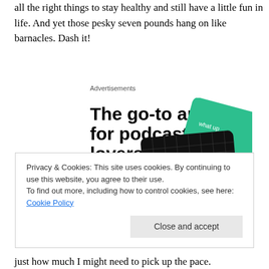all the right things to stay healthy and still have a little fun in life.  And yet those pesky seven pounds hang on like barnacles. Dash it!
[Figure (other): Advertisement for a podcast app. Headline: 'The go-to app for podcast lovers.' with a 'Download now' call to action in red. Shows app cards including '99% Invisible' podcast.]
Privacy & Cookies: This site uses cookies. By continuing to use this website, you agree to their use.
To find out more, including how to control cookies, see here: Cookie Policy
just how much I might need to pick up the pace.